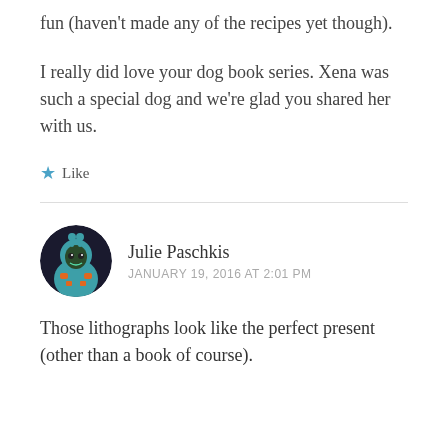fun (haven't made any of the recipes yet though).
I really did love your dog book series. Xena was such a special dog and we're glad you shared her with us.
★ Like
Julie Paschkis
JANUARY 19, 2016 AT 2:01 PM
Those lithographs look like the perfect present (other than a book of course).